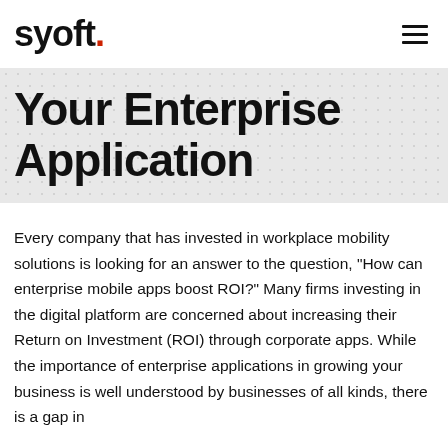[Figure (logo): Syoft logo in black bold text with a red dot after the period]
Your Enterprise Application
Every company that has invested in workplace mobility solutions is looking for an answer to the question, "How can enterprise mobile apps boost ROI?" Many firms investing in the digital platform are concerned about increasing their Return on Investment (ROI) through corporate apps. While the importance of enterprise applications in growing your business is well understood by businesses of all kinds, there is a gap in